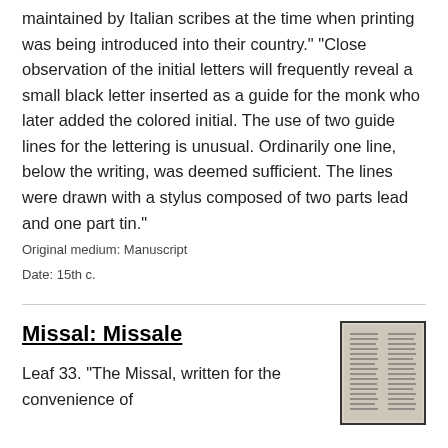maintained by Italian scribes at the time when printing was being introduced into their country." "Close observation of the initial letters will frequently reveal a small black letter inserted as a guide for the monk who later added the colored initial. The use of two guide lines for the lettering is unusual. Ordinarily one line, below the writing, was deemed sufficient. The lines were drawn with a stylus composed of two parts lead and one part tin."
Original medium: Manuscript
Date: 15th c.
Missal: Missale
Leaf 33. "The Missal, written for the convenience of
[Figure (photo): Thumbnail image of a manuscript leaf showing two columns of dense text, framed with a dark border.]